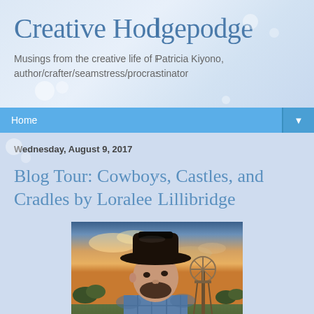Creative Hodgepodge
Musings from the creative life of Patricia Kiyono, author/crafter/seamstress/procrastinator
Home ▼
Wednesday, August 9, 2017
Blog Tour: Cowboys, Castles, and Cradles by Loralee Lillibridge
[Figure (photo): A man wearing a black cowboy hat and plaid shirt, looking into the distance, with a windmill and countryside in the background at sunset]